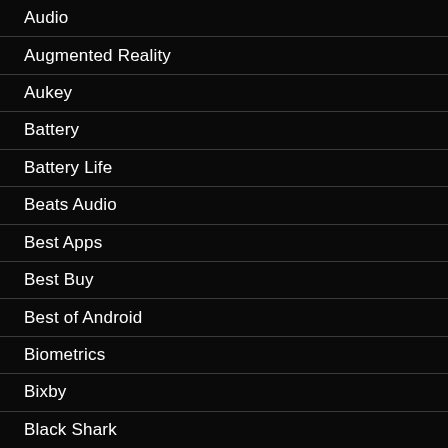Audio
Augmented Reality
Aukey
Battery
Battery Life
Beats Audio
Best Apps
Best Buy
Best of Android
Biometrics
Bixby
Black Shark